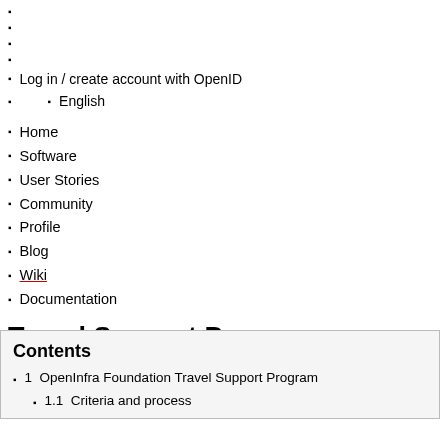Log in / create account with OpenID
English
Home
Software
User Stories
Community
Profile
Blog
Wiki
Documentation
Travel Support Program
Contents
1  OpenInfra Foundation Travel Support Program
1.1  Criteria and process